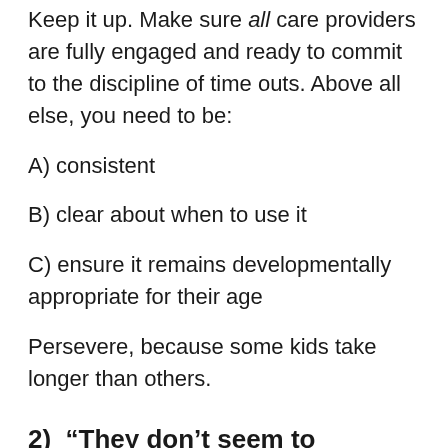Keep it up. Make sure all care providers are fully engaged and ready to commit to the discipline of time outs. Above all else, you need to be:
A) consistent
B) clear about when to use it
C) ensure it remains developmentally appropriate for their age
Persevere, because some kids take longer than others.
2) “They don’t seem to understand why they are going in time out.”